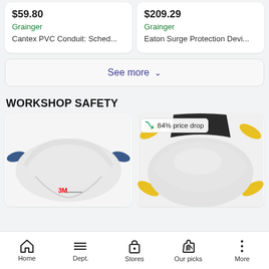$59.80
Grainger
Cantex PVC Conduit: Sched...
$209.29
Grainger
Eaton Surge Protection Devi...
See more ∨
WORKSHOP SAFETY
[Figure (photo): 3M N95 respirator mask, white, cup-shaped with blue ear straps]
[Figure (photo): N95 respirator mask, white, cup-shaped with yellow ear straps, with 84% price drop badge]
Home   Dept.   Stores   Our picks   More